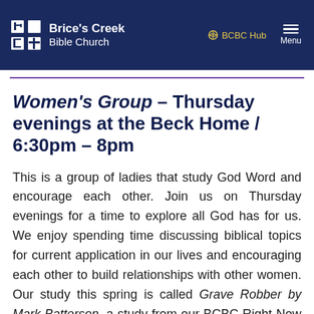Brice's Creek Bible Church | BCBC Hub | Menu
Women's Group – Thursday evenings at the Beck Home / 6:30pm – 8pm
This is a group of ladies that study God Word and encourage each other. Join us on Thursday evenings for a time to explore all God has for us. We enjoy spending time discussing biblical topics for current application in our lives and encouraging each other to build relationships with other women. Our study this spring is called Grave Robber by Mark Batterson, a study from our BCBC Right Now Media resource. Join